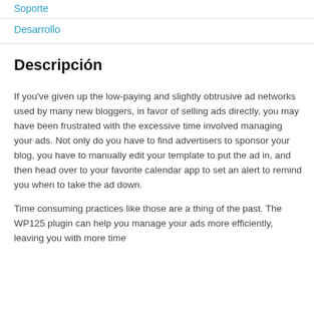Soporte
Desarrollo
Descripción
If you've given up the low-paying and slightly obtrusive ad networks used by many new bloggers, in favor of selling ads directly, you may have been frustrated with the excessive time involved managing your ads. Not only do you have to find advertisers to sponsor your blog, you have to manually edit your template to put the ad in, and then head over to your favorite calendar app to set an alert to remind you when to take the ad down.
Time consuming practices like those are a thing of the past. The WP125 plugin can help you manage your ads more efficiently, leaving you with more time